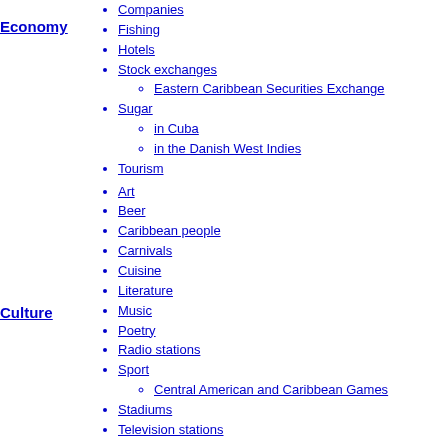Economy
Companies
Fishing
Hotels
Stock exchanges
Eastern Caribbean Securities Exchange
Sugar
in Cuba
in the Danish West Indies
Tourism
Culture
Art
Beer
Caribbean people
Carnivals
Cuisine
Literature
Music
Poetry
Radio stations
Sport
Central American and Caribbean Games
Stadiums
Television stations
Languages
Pre-Arawakan